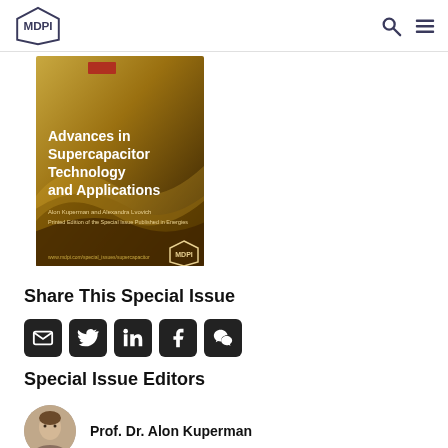MDPI
[Figure (illustration): Book cover for 'Advances in Supercapacitor Technology and Applications', gold/brown gradient cover with MDPI logo]
Share This Special Issue
[Figure (infographic): Social media share icons: email, Twitter, LinkedIn, Facebook, WeChat — black rounded square buttons]
Special Issue Editors
[Figure (photo): Headshot photo of Prof. Dr. Alon Kuperman]
Prof. Dr. Alon Kuperman